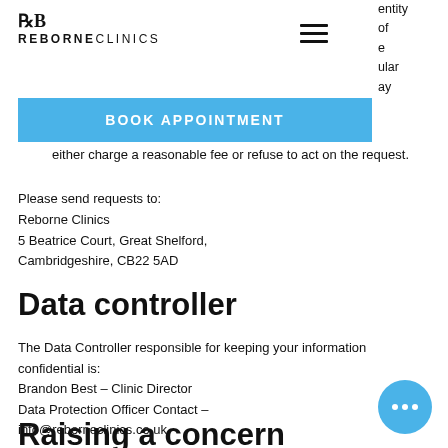[Figure (logo): Reborne Clinics logo with RB monogram and text REBORNECLINICS]
[Figure (other): Hamburger menu icon (three horizontal lines)]
entity
of
e
ular
ay
[Figure (other): BOOK APPOINTMENT blue button]
either charge a reasonable fee or refuse to act on the request.
Please send requests to:
Reborne Clinics
5 Beatrice Court, Great Shelford,
Cambridgeshire, CB22 5AD
Data controller
The Data Controller responsible for keeping your information confidential is:
Brandon Best – Clinic Director
Data Protection Officer Contact –
info@reborneclinics.co.uk
Raising a concern